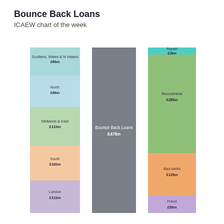Bounce Back Loans
ICAEW chart of the week
[Figure (stacked-bar-chart): Bounce Back Loans]